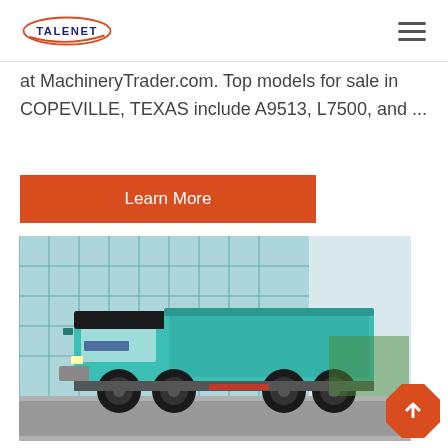TALENET (logo) with hamburger menu
at MachineryTrader.com. Top models for sale in COPEVILLE, TEXAS include A9513, L7500, and ...
Learn More
[Figure (photo): A teal/cyan Sinotruk HOWO dump truck parked in front of a glass building, photographed from front-left angle showing the dump bed raised.]